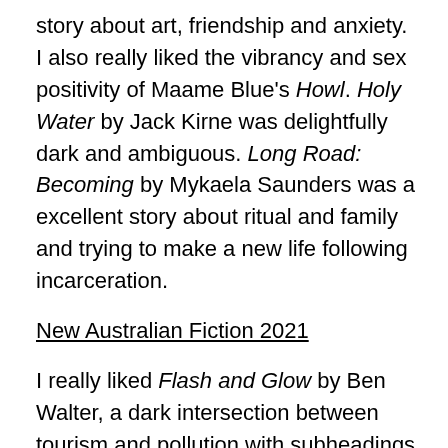story about art, friendship and anxiety. I also really liked the vibrancy and sex positivity of Maame Blue's Howl. Holy Water by Jack Kirne was delightfully dark and ambiguous. Long Road: Becoming by Mykaela Saunders was a excellent story about ritual and family and trying to make a new life following incarceration.
New Australian Fiction 2021
I really liked Flash and Glow by Ben Walter, a dark intersection between tourism and pollution with subheadings of metal contaminants. The semi-autobiographical Tunnels by Bryant Apolonio was a compelling story about the legacies our parents leave us. Resource Management, another one by Mykaela Saunders, used original and creative form to show how cultural misunderstanding has played out in Aboriginal